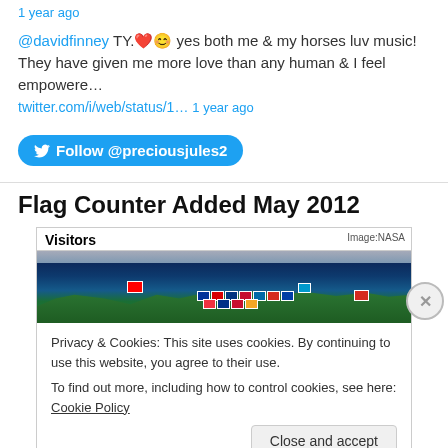1 year ago
@davidfinney TY.❤️😊 yes both me & my horses luv music! They have given me more love than any human & I feel empowere… twitter.com/i/web/status/1… 1 year ago
[Figure (screenshot): Twitter Follow button for @preciousjules2]
Flag Counter Added May 2012
[Figure (screenshot): Flag counter widget showing world map with visitor flags and NASA image credit. Overlaid with cookie consent dialog showing: Privacy & Cookies: This site uses cookies. By continuing to use this website, you agree to their use. To find out more, including how to control cookies, see here: Cookie Policy. Close and accept button.]